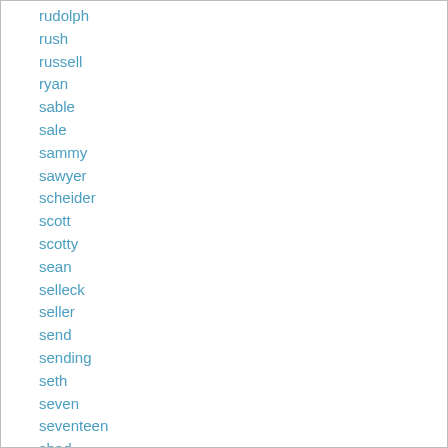rudolph
rush
russell
ryan
sable
sale
sammy
sawyer
scheider
scott
scotty
sean
selleck
seller
send
sending
seth
seven
seventeen
shad
shameless
shamrock
shania
sha...